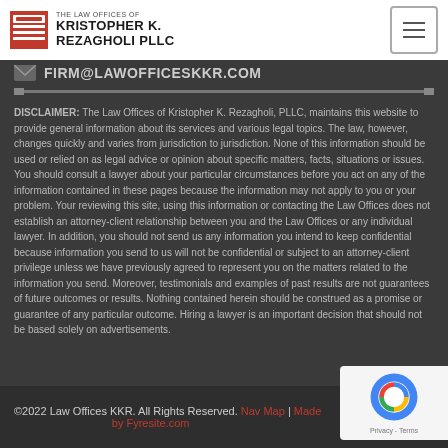THE LAW OFFICES OF KRISTOPHER K. REZAGHOLI PLLC
FIRM@LAWOFFICESKKR.COM
DISCLAIMER: The Law Offices of Kristopher K. Rezagholi, PLLC, maintains this website to provide general information about its services and various legal topics. The law, however, changes quickly and varies from jurisdiction to jurisdiction. None of this information should be used or relied on as legal advice or opinion about specific matters, facts, situations or issues. You should consult a lawyer about your particular circumstances before you act on any of the information contained in these pages because the information may not apply to you or your problem. Your reviewing this site, using this information or contacting the Law Offices does not establish an attorney-client relationship between you and the Law Offices or any individual lawyer. In addition, you should not send us any information you intend to keep confidential because information you send to us will not be confidential or subject to an attorney-client privilege unless we have previously agreed to represent you on the matters related to the information you send. Moreover, testimonials and examples of past results are not guarantees of future outcomes or results. Nothing contained herein should be construed as a promise or guarantee of any particular outcome. Hiring a lawyer is an important decision that should not be based solely on advertisements.
©2022 Law Offices KKR. All Rights Reserved. Nav Map | Made by Fyresite.com